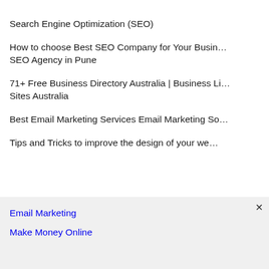Search Engine Optimization (SEO)
How to choose Best SEO Company for Your Business | SEO Agency in Pune
71+ Free Business Directory Australia | Business Listing Sites Australia
Best Email Marketing Services Email Marketing So…
Tips and Tricks to improve the design of your we…
Email Marketing
Make Money Online